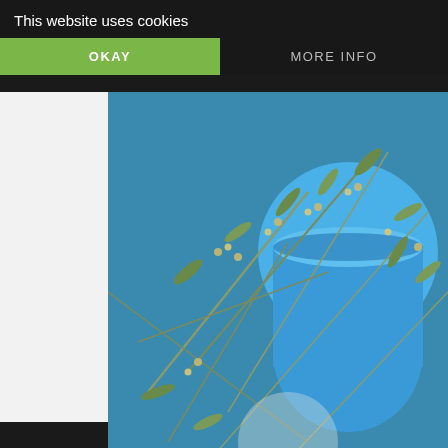This website uses cookies
OKAY
MORE INFO
[Figure (photo): Close-up photo of olive tree branches with small buds/berries, and a blue ceramic pot in the background]
[Figure (infographic): Twitter share button (bird icon) on light blue background]
[Figure (infographic): Facebook share button (f icon) on dark blue background]
[Figure (infographic): Collapse/chevron down button]
Don't let multiple repairs cost you time and money.
[Figure (logo): Circular logo with letter 'a' inside]
[Figure (logo): Blue diamond navigation/directions icon]